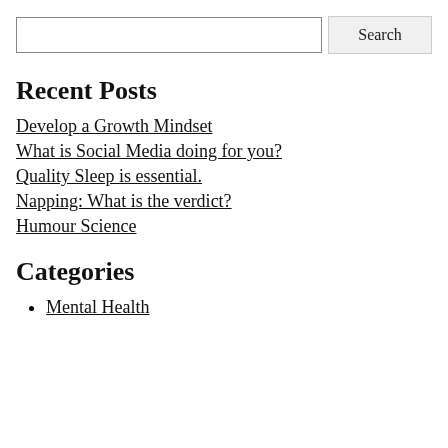[Search input] Search
Recent Posts
Develop a Growth Mindset
What is Social Media doing for you?
Quality Sleep is essential.
Napping: What is the verdict?
Humour Science
Categories
Mental Health